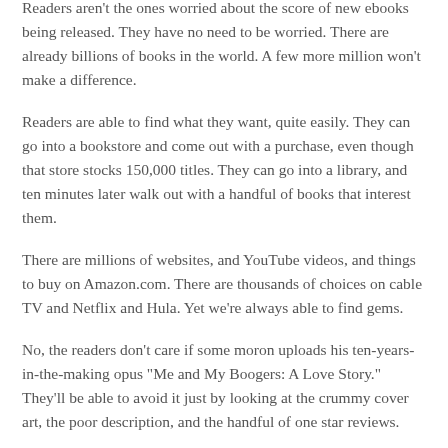Readers aren't the ones worried about the score of new ebooks being released. They have no need to be worried. There are already billions of books in the world. A few more million won't make a difference.
Readers are able to find what they want, quite easily. They can go into a bookstore and come out with a purchase, even though that store stocks 150,000 titles. They can go into a library, and ten minutes later walk out with a handful of books that interest them.
There are millions of websites, and YouTube videos, and things to buy on Amazon.com. There are thousands of choices on cable TV and Netflix and Hula. Yet we're always able to find gems.
No, the readers don't care if some moron uploads his ten-years-in-the-making opus "Me and My Boogers: A Love Story." They'll be able to avoid it just by looking at the crummy cover art, the poor description, and the handful of one star reviews.
Readers don't care if something is self-pubbed or not.